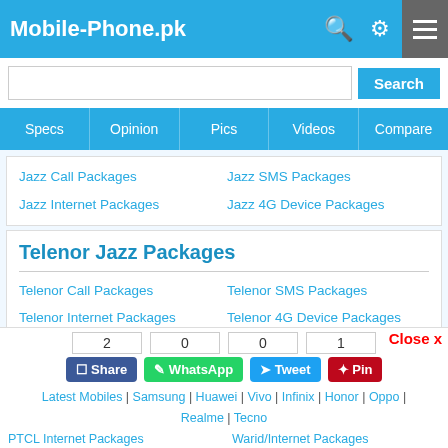Mobile-Phone.pk
Specs | Opinion | Pics | Videos | Compare
Jazz Call Packages
Jazz SMS Packages
Jazz Internet Packages
Jazz 4G Device Packages
Telenor Jazz Packages
Telenor Call Packages
Telenor SMS Packages
Telenor Internet Packages
Telenor 4G Device Packages
Ufone Jazz Packages
Ufone Call Packages
Ufone SMS Packages
Ufone Internet Packages
Close x
2   0   0   1
Share | WhatsApp | Tweet | Pin
Latest Mobiles | Samsung | Huawei | Vivo | Infinix | Honor | Oppo | Realme | Tecno
PTCL Internet Packages   Warid/Internet Packages